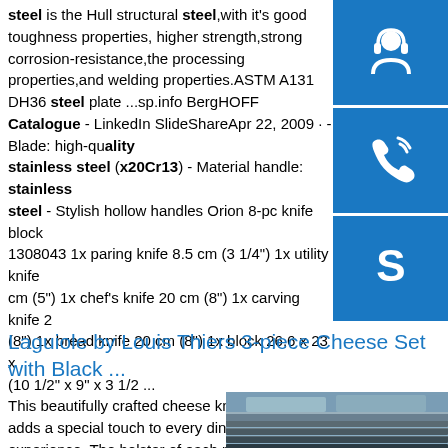steel is the Hull structural steel,with it's good toughness properties, higher strength,strong corrosion-resistance,the processing properties,and welding properties.ASTM A131 DH36 steel plate ...sp.info BergHOFF Catalogue - LinkedIn SlideShareApr 22, 2009 · - Blade: high-qu stainless steel (x20Cr13) - Material handle: stainless steel - Stylish hollow handles Orion 8-pc knife block 1308043 1x paring knife 8.5 cm (3 1/4") 1x utility knife cm (5") 1x chef's knife 20 cm (8") 1x carving knife 20 cm (8") 1x bread knife 20 cm (8") 1x block 26,6 x 23 x cm (10 1/2" x 9" x 3 1/2 ...
[Figure (illustration): Three blue icon boxes stacked vertically: headset/customer service icon, phone/call icon, Skype icon]
Laguiole by Louis Thiers 3-piece Cheese Set with Black ...
This beautifully crafted cheese knife set adds a special touch to every dining experience. The bolster of each piece is decorated with
[Figure (photo): Stack of steel plates photographed from above at an angle, showing layered metal sheets]